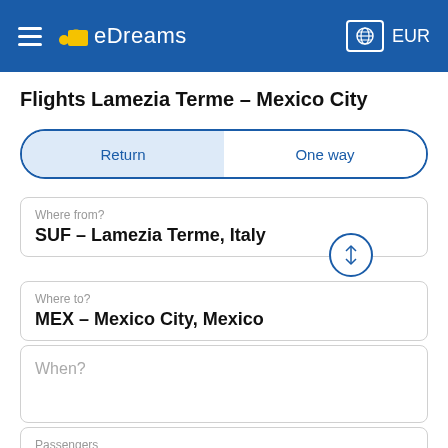eDreams EUR
Flights Lamezia Terme - Mexico City
Return | One way
Where from?
SUF – Lamezia Terme, Italy
Where to?
MEX – Mexico City, Mexico
When?
Passengers
1 adult